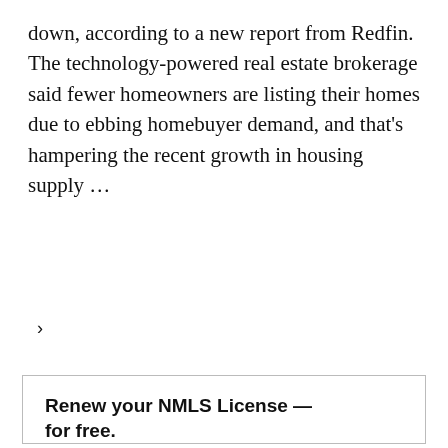down, according to a new report from Redfin. The technology-powered real estate brokerage said fewer homeowners are listing their homes due to ebbing homebuyer demand, and that's hampering the recent growth in housing supply ...
Continue reading ›
Renew your NMLS License — for free.
Enjoy access to a free NMLS renewal class when you attend an in-person event.
Find an event